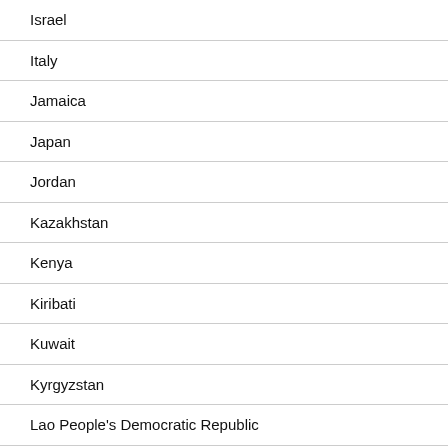Israel
Italy
Jamaica
Japan
Jordan
Kazakhstan
Kenya
Kiribati
Kuwait
Kyrgyzstan
Lao People's Democratic Republic
Latvia